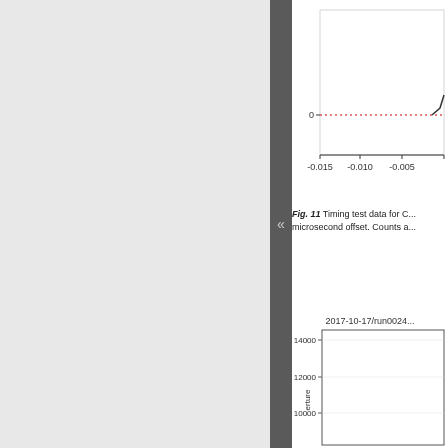[Figure (continuous-plot): Top portion of a timing plot showing x-axis labels: -0.015, -0.010, -0.005, with a dotted red horizontal line near y=0, and a rising curve at the right edge. Y-axis shows 0 tick.]
Fig. 11 Timing test data for C... microsecond offset. Counts a...
[Figure (continuous-plot): Bottom histogram/plot titled 2017-10-17/run0024... showing y-axis ticks at 10000, 12000, 14000 with label 'erture' (truncated, likely 'aperture'). Chart area is partially visible.]